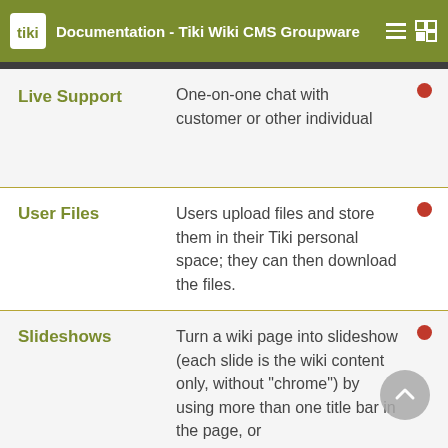Documentation - Tiki Wiki CMS Groupware
| Feature | Description |  |
| --- | --- | --- |
| Live Support | One-on-one chat with customer or other individual | ● |
| User Files | Users upload files and store them in their Tiki personal space; they can then download the files. | ● |
| Slideshows | Turn a wiki page into slideshow (each slide is the wiki content only, without "chrome") by using more than one title bar in the page, or make a multi-page slideshow from | ● |